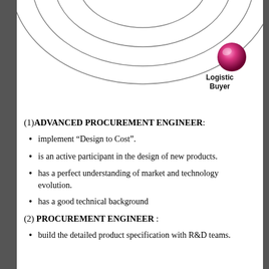[Figure (illustration): Partial diagram showing concentric elliptical orbits with a pink/magenta spherical ball labeled 'Logistic Buyer' positioned at the right side of the outer ring.]
(1)ADVANCED PROCUREMENT ENGINEER:
implement “Design to Cost”.
is an active participant in the design of new products.
has a perfect understanding of market and technology evolution.
has a good technical background
(2) PROCUREMENT ENGINEER :
build the detailed product specification with R&D teams.